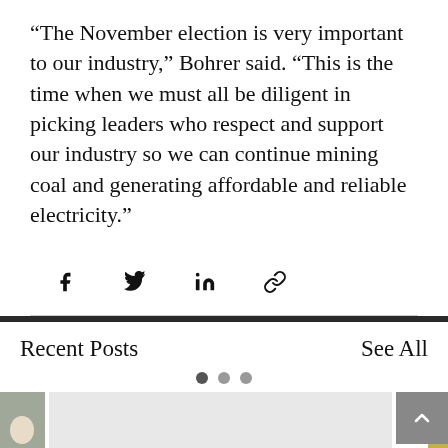“The November election is very important to our industry,” Bohrer said. “This is the time when we must all be diligent in picking leaders who respect and support our industry so we can continue mining coal and generating affordable and reliable electricity.”
[Figure (other): Social share icons: Facebook, Twitter, LinkedIn, and link/chain icon]
Recent Posts
See All
[Figure (screenshot): Recent posts carousel with thumbnail images of people, a pagination dot indicator, and a back-to-top arrow button]